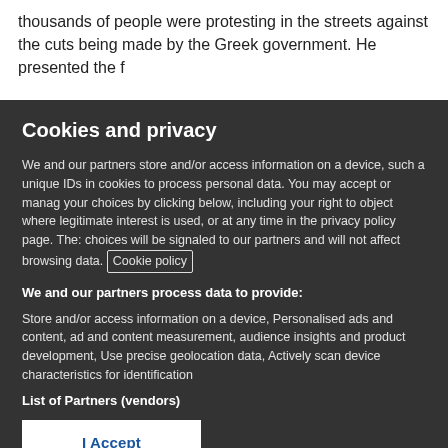thousands of people were protesting in the streets against the cuts being made by the Greek government. He presented the f...
Cookies and privacy
We and our partners store and/or access information on a device, such as unique IDs in cookies to process personal data. You may accept or manage your choices by clicking below, including your right to object where legitimate interest is used, or at any time in the privacy policy page. These choices will be signaled to our partners and will not affect browsing data. Cookie policy
We and our partners process data to provide:
Store and/or access information on a device, Personalised ads and content, ad and content measurement, audience insights and product development, Use precise geolocation data, Actively scan device characteristics for identification
List of Partners (vendors)
I Accept